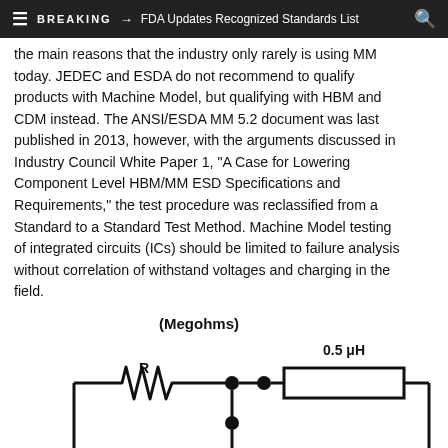≡  BREAKING → FDA Updates Recognized Standards List  🔍
the main reasons that the industry only rarely is using MM today. JEDEC and ESDA do not recommend to qualify products with Machine Model, but qualifying with HBM and CDM instead. The ANSI/ESDA MM 5.2 document was last published in 2013, however, with the arguments discussed in Industry Council White Paper 1, "A Case for Lowering Component Level HBM/MM ESD Specifications and Requirements," the test procedure was reclassified from a Standard to a Standard Test Method. Machine Model testing of integrated circuits (ICs) should be limited to failure analysis without correlation of withstand voltages and charging in the field.
[Figure (circuit-diagram): Partial circuit diagram showing a resistor R (in Megohms) connected to junction nodes and an inductor of 0.5 μH in series. Junction node with a downward connection to ground. The circuit continues off the bottom of the page.]